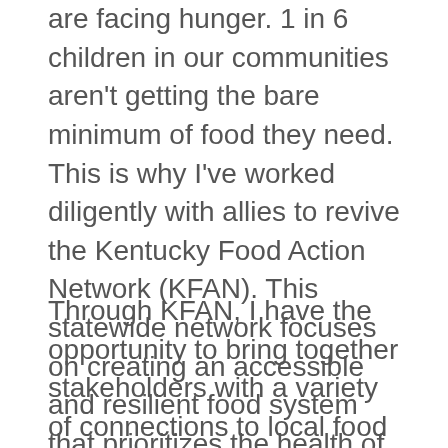are facing hunger. 1 in 6 children in our communities aren't getting the bare minimum of food they need. This is why I've worked diligently with allies to revive the Kentucky Food Action Network (KFAN). This statewide network focuses on creating an accessible and resilient food system that prioritizes the health of all Kentuckians, from producers to consumers.
Through KFAN, I have the opportunity to bring together stakeholders with a variety of connections to local food systems, including recipients of SNAP and WIC, farmers, grocery store workers, food bank coordinators, chefs, and more. Together, we work